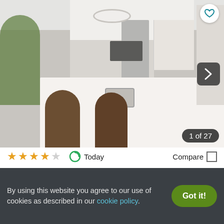[Figure (photo): Kitchen interior photo showing white cabinetry, stainless steel appliances, white quartz island countertop with sink, and two wooden bar stools. Photo counter shows '1 of 27'.]
★★★★☆  Today  Compare □
Roswell Village
100 Hemingway Lane, Roswell, GA 30075
✓ Available     ✓ Verified
By using this website you agree to our use of cookies as described in our cookie policy.